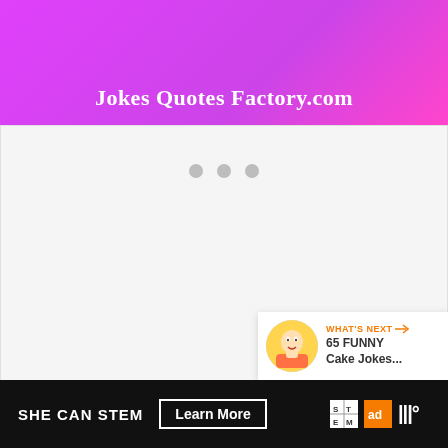Jokes Quotes Factory.com
[Figure (screenshot): Loading placeholder with three grey dots on a light grey background]
[Figure (infographic): Orange heart button and white share button floating on right side]
[Figure (infographic): What's Next card with baby photo thumbnail and text '65 FUNNY Cake Jokes...']
SHE CAN STEM  Learn More  [STEM logo] [Ad Council logo] [W logo]